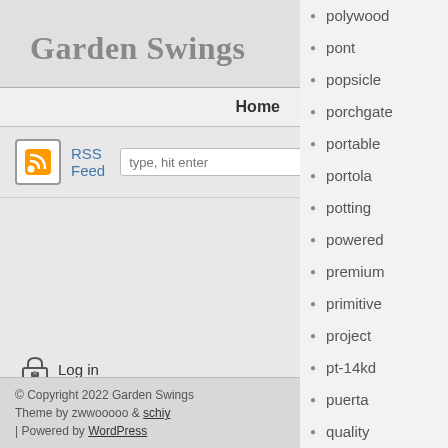Garden Swings
Home
RSS Feed  type, hit enter
Log in
© Copyright 2022 Garden Swings
Theme by zwwooooo & schiy
| Powered by WordPress
polywood
pont
popsicle
porchgate
portable
portola
potting
powered
premium
primitive
project
pt-14kd
puerta
quality
queena
rabun
rainbow
rare
rbsb-1m
rebo
reclining